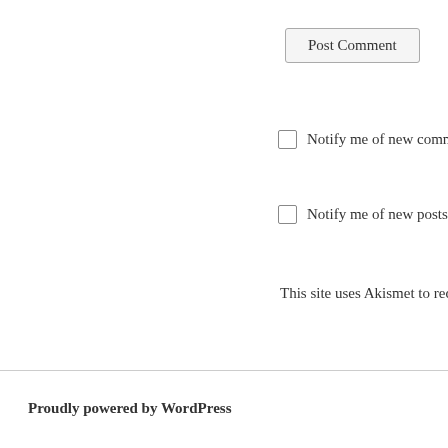Post Comment
Notify me of new comments via email.
Notify me of new posts via email.
This site uses Akismet to reduce spam.
Proudly powered by WordPress